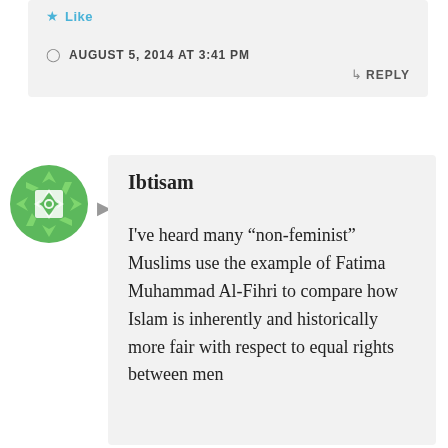Like
AUGUST 5, 2014 AT 3:41 PM
REPLY
[Figure (illustration): Green geometric avatar icon with diamond/star pattern for user Ibtisam]
Ibtisam
I've heard many “non-feminist” Muslims use the example of Fatima Muhammad Al-Fihri to compare how Islam is inherently and historically more fair with respect to equal rights between men